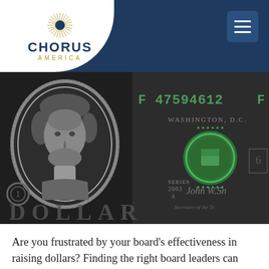Chorus America
[Figure (photo): Close-up photograph of a US one dollar bill showing George Washington's portrait on the left, and the Treasury seal, series 2003 A, serial number F47594612F, and signature of John W. Snow Secretary of the Treasury on the right. The word DOLLAR is visible along the bottom.]
Are you frustrated by your board's effectiveness in raising dollars? Finding the right board leaders can yield rich dividends. We explore some of the best techniques for getting your board in a fundrais...